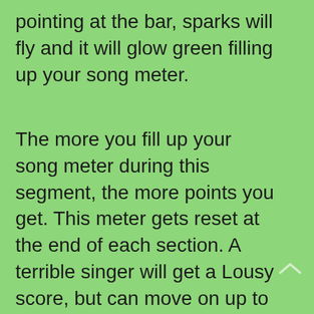pointing at the bar, sparks will fly and it will glow green filling up your song meter.
The more you fill up your song meter during this segment, the more points you get. This meter gets reset at the end of each section. A terrible singer will get a Lousy score, but can move on up to Poor, Ok, Good, Great, and even Expert. Get at least a Good score and you will start a combo. This combo will keep climbing as long as you keep getting a Good or better rating.